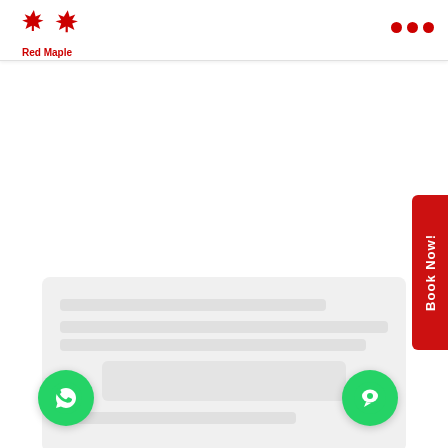[Figure (logo): Red Maple logo with two red maple leaves and text 'Red Maple' in red]
[Figure (other): Three red dots in a row — hamburger/more menu icon in top right corner]
[Figure (other): Vertical red tab button on the right side with white text 'Book Now!']
[Figure (other): Light grey card content area with blurred placeholder rows suggesting hidden content]
[Figure (other): Green circle WhatsApp button (phone icon) at bottom left]
[Figure (other): Green circle chat bubble button at bottom right]